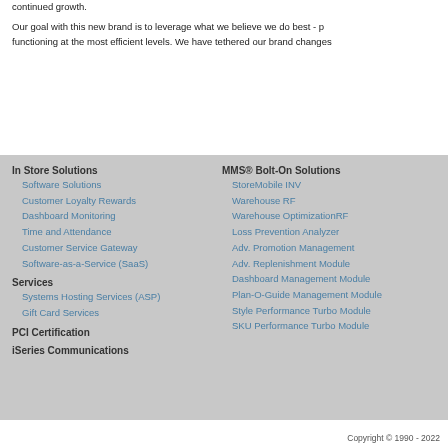continued growth.
Our goal with this new brand is to leverage what we believe we do best - functioning at the most efficient levels. We have tethered our brand changes
In Store Solutions
Software Solutions
Customer Loyalty Rewards
Dashboard Monitoring
Time and Attendance
Customer Service Gateway
Software-as-a-Service (SaaS)
Services
Systems Hosting Services (ASP)
Gift Card Services
PCI Certification
iSeries Communications
MMS® Bolt-On Solutions
StoreMobile INV
Warehouse RF
Warehouse OptimizationRF
Loss Prevention Analyzer
Adv. Promotion Management
Adv. Replenishment Module
Dashboard Management Module
Plan-O-Guide Management Module
Style Performance Turbo Module
SKU Performance Turbo Module
Copyright © 1990 - 2022